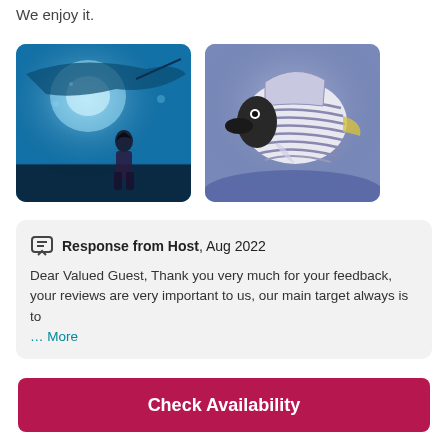We enjoy it.
[Figure (photo): Two aquarium photos side by side: left shows a child standing in front of a large blue-lit aquarium tank with a stingray overhead; right shows a striped emperor angelfish close-up in blue-tinted water.]
Response from Host, Aug 2022
Dear Valued Guest, Thank you very much for your feedback, your reviews are very important to us, our main target always is to
… More
Check Availability